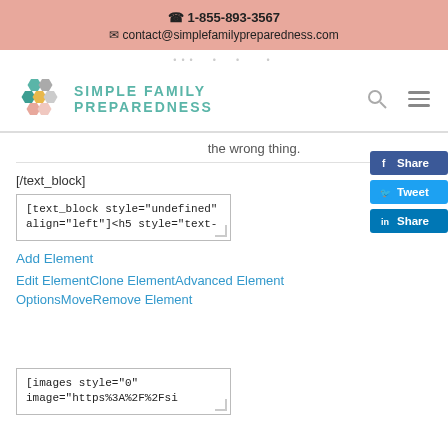📞 1-855-893-3567
✉ contact@simplefamilypreparedness.com
[Figure (logo): Simple Family Preparedness logo with hexagon honeycomb icon in teal, gray, yellow, and pink, and teal text reading SIMPLE FAMILY PREPAREDNESS]
the wrong thing.
[/text_block]
[text_block style="undefined" align="left"]<h5 style="text-
Add Element
Edit ElementClone ElementAdvanced Element OptionsMoveRemove Element
[images style="0" image="https%3A%2F%2Fsi